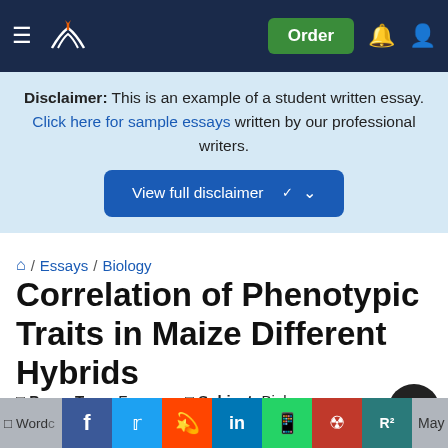[Figure (screenshot): Navigation bar with hamburger menu, book/pen logo, Order button, bell icon, and user icon on dark navy background]
Disclaimer: This is an example of a student written essay. Click here for sample essays written by our professional writers.
View full disclaimer
Home / Essays / Biology
Correlation of Phenotypic Traits in Maize Different Hybrids
Paper Type: Free Essay   Subject: Biology
[Figure (screenshot): Social share bar with Facebook, Twitter, Reddit, LinkedIn, WhatsApp, Mendeley, ResearchGate buttons]